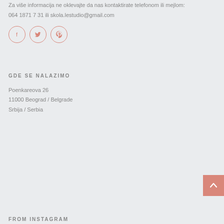Za više informacija ne oklevajte da nas kontaktirate telefonom ili mejlom:
064 1871 7 31 ili skola.lestudio@gmail.com
[Figure (other): Three social media icons in circles (Facebook, Twitter, Pinterest) with salmon/coral colored outlines]
GDE SE NALAZIMO
Poenkareova 26
11000 Beograd / Belgrade
Srbija / Serbia
[Figure (other): Back to top button - salmon/coral colored square with upward arrow]
FROM INSTAGRAM